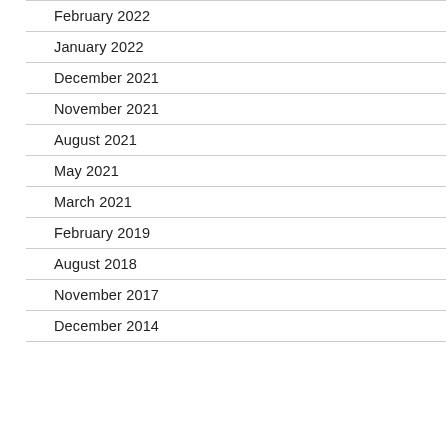February 2022
January 2022
December 2021
November 2021
August 2021
May 2021
March 2021
February 2019
August 2018
November 2017
December 2014